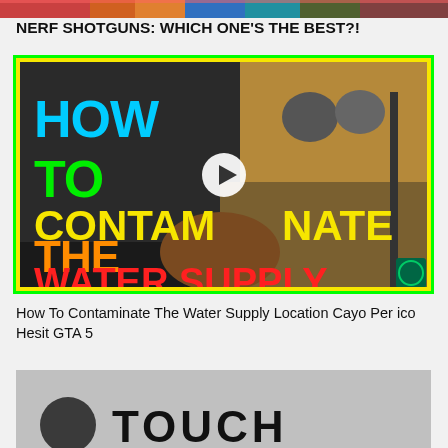[Figure (screenshot): Top thumbnail strip showing partial video thumbnails with colorful content]
NERF SHOTGUNS: WHICH ONE'S THE BEST?!
[Figure (screenshot): Video thumbnail: 'How To Contaminate The Water Supply Location Cayo Perico Hesit GTA 5' with colorful text overlay (HOW TO CONTAMINATE THE WATER SUPPLY) and a play button in the center. Yellow border with green outline.]
How To Contaminate The Water Supply Location Cayo Per ico Hesit GTA 5
[Figure (screenshot): Bottom partial thumbnail showing grayscale image with a dark circle and the text 'TOUCH' in large bold letters]